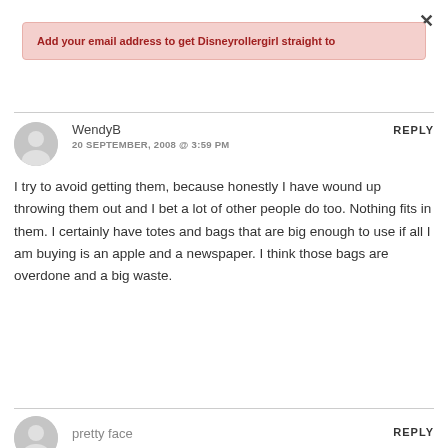×
Add your email address to get Disneyrollergirl straight to
WendyB
20 SEPTEMBER, 2008 @ 3:59 PM
REPLY
I try to avoid getting them, because honestly I have wound up throwing them out and I bet a lot of other people do too. Nothing fits in them. I certainly have totes and bags that are big enough to use if all I am buying is an apple and a newspaper. I think those bags are overdone and a big waste.
pretty face
REPLY